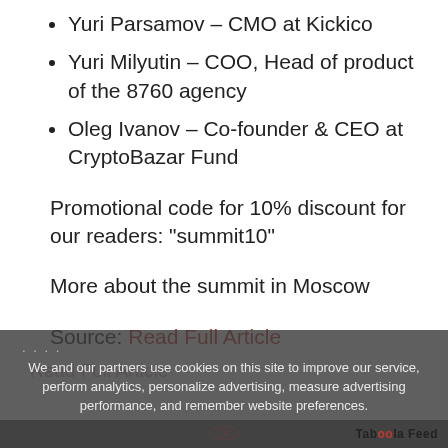Yuri Parsamov – CMO at Kickico
Yuri Milyutin – COO, Head of product of the 8760 agency
Oleg Ivanov – Co-founder & CEO at CryptoBazar Fund
Promotional code for 10% discount for our readers: "summit10"
More about the summit in Moscow
Source: Read Full Article
....
We and our partners use cookies on this site to improve our service, perform analytics, personalize advertising, measure advertising performance, and remember website preferences.
Taboola Feed